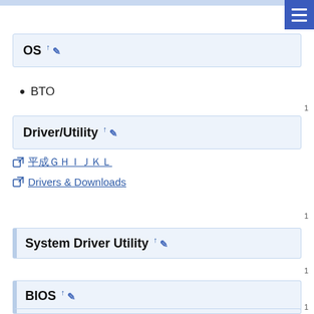OS ↑ ✎
BTO
Driver/Utility ↑ ✎
🔗 [Japanese link] Drivers & Downloads
System Driver Utility ↑ ✎
BIOS ↑ ✎